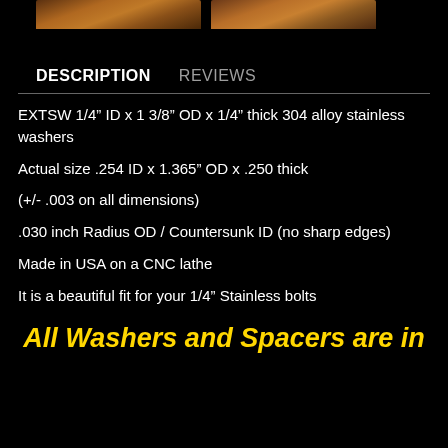[Figure (photo): Two product photos of stainless steel washers on wood background]
DESCRIPTION    REVIEWS
EXTSW 1/4” ID x 1 3/8” OD x 1/4” thick 304 alloy stainless washers
Actual size .254 ID x 1.365” OD x .250 thick
(+/- .003 on all dimensions)
.030 inch Radius OD / Countersunk ID (no sharp edges)
Made in USA on a CNC lathe
It is a beautiful fit for your 1/4” Stainless bolts
All Washers and Spacers are in